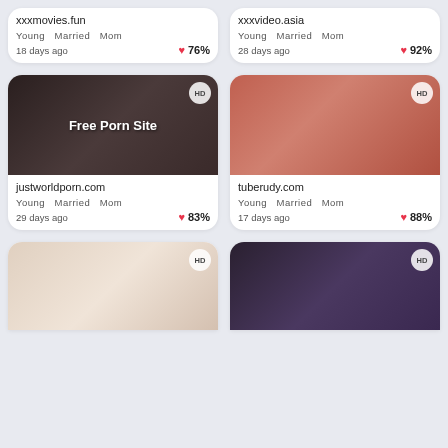xxxmovies.fun
Young  Married  Mom
18 days ago  76%
xxxvideo.asia
Young  Married  Mom
28 days ago  92%
[Figure (photo): Video thumbnail with overlay text 'Free Porn Site', HD badge]
justworldporn.com
Young  Married  Mom
29 days ago  83%
[Figure (photo): Video thumbnail showing couple on bed, HD badge]
tuberudy.com
Young  Married  Mom
17 days ago  88%
[Figure (photo): Video thumbnail showing couple, HD badge, partially cut off at bottom]
[Figure (photo): Video thumbnail close-up, HD badge, partially cut off at bottom]